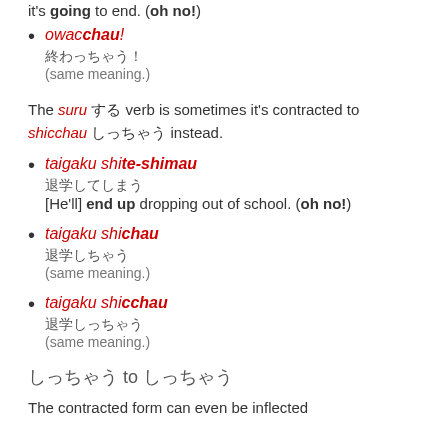it's going to end. (oh no!)
owacchau!
終わっちゃう！
(same meaning.)
The suru する verb is sometimes it's contracted to shicchau しっちゃう instead.
taigaku shite-shimau
退学してしまう
[He'll] end up dropping out of school. (oh no!)
taigaku shichau
退学しちゃう
(same meaning.)
taigaku shicchau
退学しっちゃう
(same meaning.)
しっちゃう to しっちゃう
The contracted form can even be inflected